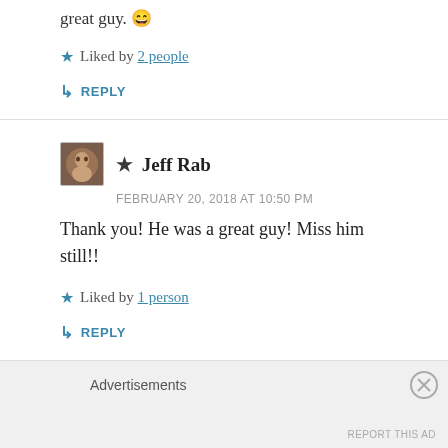great guy. 😄
★ Liked by 2 people
↳ REPLY
★ Jeff Rab
FEBRUARY 20, 2018 AT 10:50 PM
Thank you! He was a great guy! Miss him still!!
★ Liked by 1 person
↳ REPLY
Advertisements